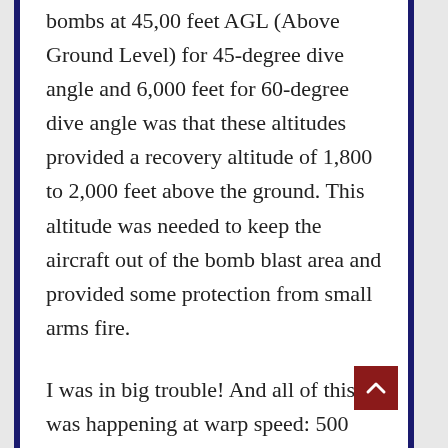bombs at 45,00 feet AGL (Above Ground Level) for 45-degree dive angle and 6,000 feet for 60-degree dive angle was that these altitudes provided a recovery altitude of 1,800 to 2,000 feet above the ground. This altitude was needed to keep the aircraft out of the bomb blast area and provided some protection from small arms fire.
I was in big trouble! And all of this was happening at warp speed: 500 Knots is almost 850 feet-per-second. Cross checks on instruments, flight control inputs